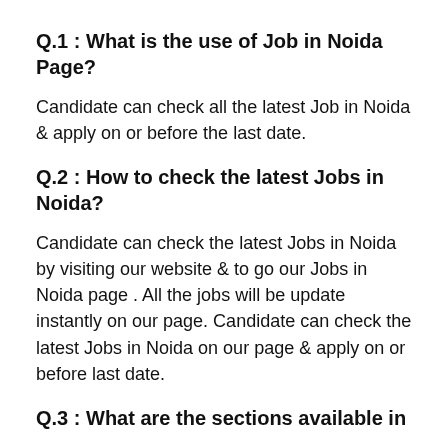Q.1 : What is the use of Job in Noida Page?
Candidate can check all the latest Job in Noida & apply on or before the last date.
Q.2 : How to check the latest Jobs in Noida?
Candidate can check the latest Jobs in Noida by visiting our website & to go our Jobs in Noida page . All the jobs will be update instantly on our page. Candidate can check the latest Jobs in Noida on our page & apply on or before last date.
Q.3 : What are the sections available in